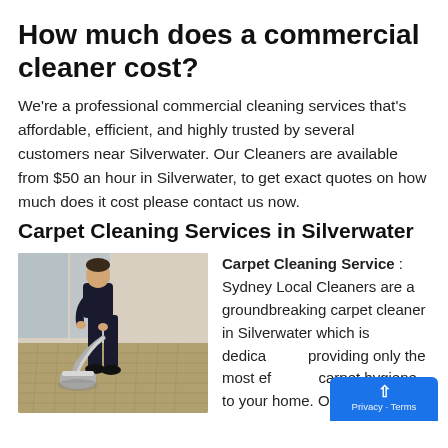How much does a commercial cleaner cost?
We're a professional commercial cleaning services that's affordable, efficient, and highly trusted by several customers near Silverwater. Our Cleaners are available from $50 an hour in Silverwater, to get exact quotes on how much does it cost please contact us now.
Carpet Cleaning Services in Silverwater
[Figure (photo): A person in dark clothing using a professional carpet cleaning machine on a carpeted floor in what appears to be a commercial interior space.]
Carpet Cleaning Service : Sydney Local Cleaners are a groundbreaking carpet cleaner in Silverwater which is dedicated to providing only the most effective carpet hygiene to your home. Our